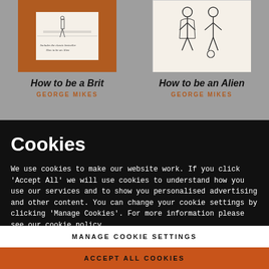[Figure (illustration): Book cover for 'How to be a Brit' by George Mikes, orange cover with a sketch illustration, text 'Includes the classic bestseller How to be an Alien']
How to be a Brit
GEORGE MIKES
[Figure (illustration): Book cover for 'How to be an Alien' by George Mikes, cream/white cover with a line drawing of two figures]
How to be an Alien
GEORGE MIKES
Cookies
We use cookies to make our website work. If you click 'Accept All' we will use cookies to understand how you use our services and to show you personalised advertising and other content. You can change your cookie settings by clicking 'Manage Cookies'. For more information please see our cookie policy
MANAGE COOKIE SETTINGS
ACCEPT ALL COOKIES